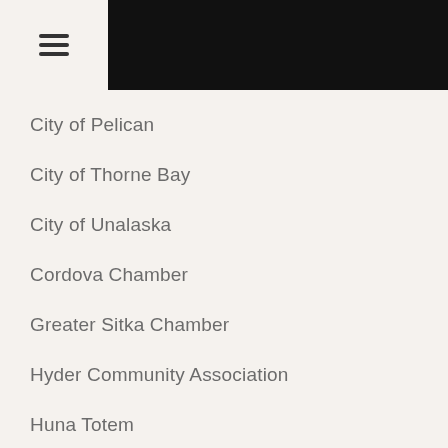☰
City of Pelican
City of Thorne Bay
City of Unalaska
Cordova Chamber
Greater Sitka Chamber
Hyder Community Association
Huna Totem
Inter-Island Ferry Authority
Madison Lumber & Hardware